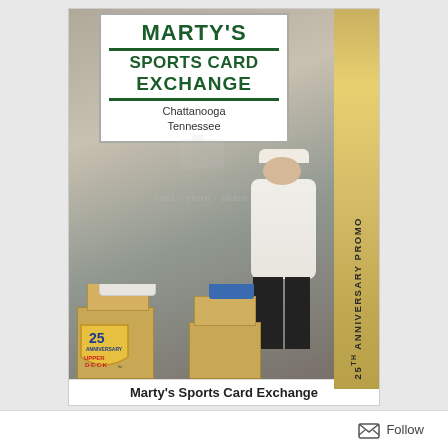[Figure (photo): Upper Deck 25th Anniversary Promo trading card featuring a man standing in front of a large banner sign reading 'MARTY'S SPORTS CARD EXCHANGE, Chattanooga Tennessee'. The man is wearing a white long-sleeve shirt and dark pants with a white cap. There are boxes and sports memorabilia on the ground. The card has a gold sidebar on the right with vertical text '25TH ANNIVERSARY PROMO' and an Upper Deck 25th Anniversary logo in the bottom left of the card.]
Marty's Sports Card Exchange
Follow